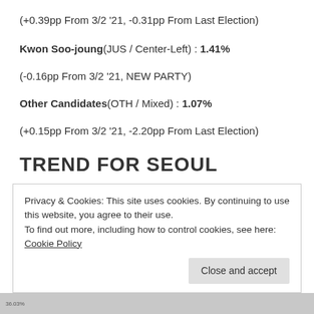(+0.39pp From 3/2 '21, -0.31pp From Last Election)
Kwon Soo-joung(JUS / Center-Left) : 1.41%
(-0.16pp From 3/2 '21, NEW PARTY)
Other Candidates(OTH / Mixed) : 1.07%
(+0.15pp From 3/2 '21, -2.20pp From Last Election)
TREND FOR SEOUL
Privacy & Cookies: This site uses cookies. By continuing to use this website, you agree to their use.
To find out more, including how to control cookies, see here: Cookie Policy